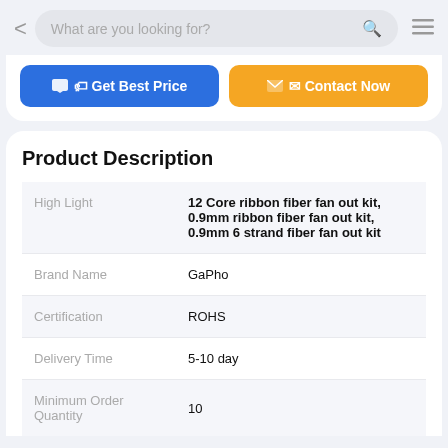What are you looking for?
[Figure (screenshot): Get Best Price and Contact Now CTA buttons]
Product Description
|  |  |
| --- | --- |
| High Light | 12 Core ribbon fiber fan out kit, 0.9mm ribbon fiber fan out kit, 0.9mm 6 strand fiber fan out kit |
| Brand Name | GaPho |
| Certification | ROHS |
| Delivery Time | 5-10 day |
| Minimum Order Quantity | 10 |